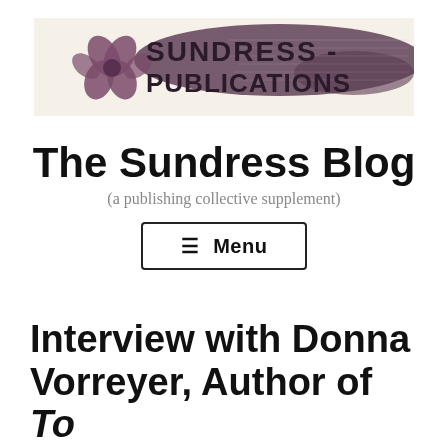[Figure (logo): Sundress Publications banner logo with a stylized flower/butterfly icon on cream background with a dark brushstroke overlay and faded manuscript texture]
The Sundress Blog
(a publishing collective supplement)
☰ Menu
Interview with Donna Vorreyer, Author of To